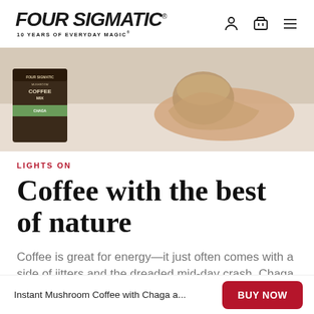FOUR SIGMATIC® 10 YEARS OF EVERYDAY MAGIC®
[Figure (photo): Product photo showing a Four Sigmatic Mushroom Coffee Mix box on the left and hands holding a cup on the right, on a light beige background.]
LIGHTS ON
Coffee with the best of nature
Coffee is great for energy—it just often comes with a side of jitters and the dreaded mid-day crash. Chaga and Cordyceps support a strong body to avoid coffee's dark side. You'll have to
Instant Mushroom Coffee with Chaga a...  BUY NOW